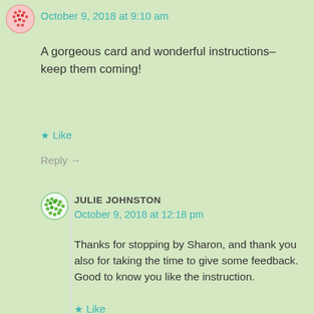October 9, 2018 at 9:10 am
A gorgeous card and wonderful instructions– keep them coming!
★ Like
Reply →
JULIE JOHNSTON
October 9, 2018 at 12:18 pm
Thanks for stopping by Sharon, and thank you also for taking the time to give some feedback. Good to know you like the instruction.
★ Like